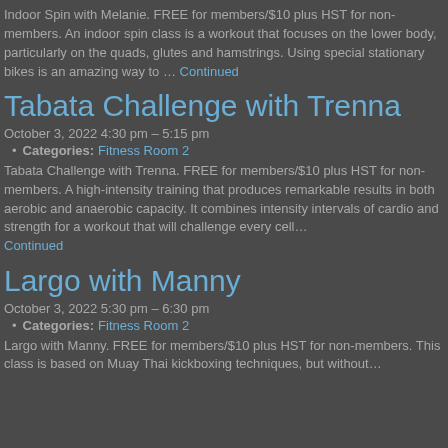Indoor Spin with Melanie. FREE for members/$10 plus HST for non-members. An indoor spin class is a workout that focuses on the lower body, particularly on the quads, glutes and hamstrings. Using special stationary bikes is an amazing way to … Continued
Tabata Challenge with Trenna
October 3, 2022 4:30 pm – 5:15 pm
Categories: Fitness Room 2
Tabata Challenge with Trenna. FREE for members/$10 plus HST for non-members. A high-intensity training that produces remarkable results in both aerobic and anaerobic capacity. It combines intensity intervals of cardio and strength for a workout that will challenge every cell… Continued
Largo with Manny
October 3, 2022 5:30 pm – 6:30 pm
Categories: Fitness Room 2
Largo with Manny. FREE for members/$10 plus HST for non-members. This class is based on Muay Thai kickboxing techniques, but without…